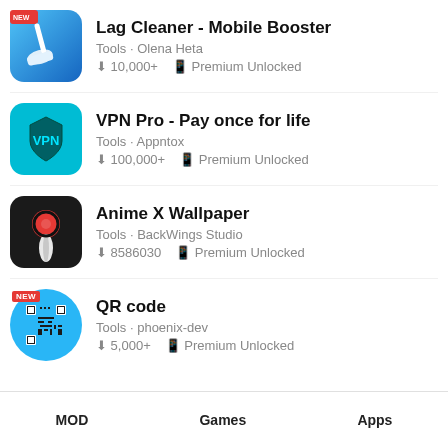Lag Cleaner - Mobile Booster · Tools · Olena Heta · 10,000+ · Premium Unlocked
VPN Pro - Pay once for life · Tools · Appntox · 100,000+ · Premium Unlocked
Anime X Wallpaper · Tools · BackWings Studio · 8586030 · Premium Unlocked
QR code · Tools · phoenix-dev · 5,000+ · Premium Unlocked
MOD   Games   Apps